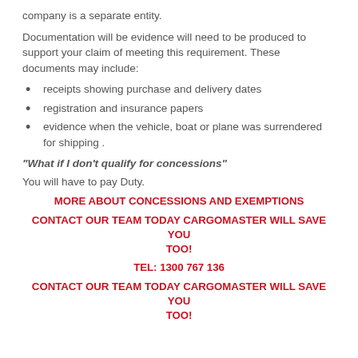company is a separate entity.
Documentation will be evidence will need to be produced to support your claim of meeting this requirement. These documents may include:
receipts showing purchase and delivery dates
registration and insurance papers
evidence when the vehicle, boat or plane was surrendered for shipping .
“What if I don’t qualify for concessions”
You will have to pay Duty.
MORE ABOUT CONCESSIONS AND EXEMPTIONS
CONTACT OUR TEAM TODAY CARGOMASTER WILL SAVE YOU TOO!
TEL: 1300 767 136
CONTACT OUR TEAM TODAY CARGOMASTER WILL SAVE YOU TOO!